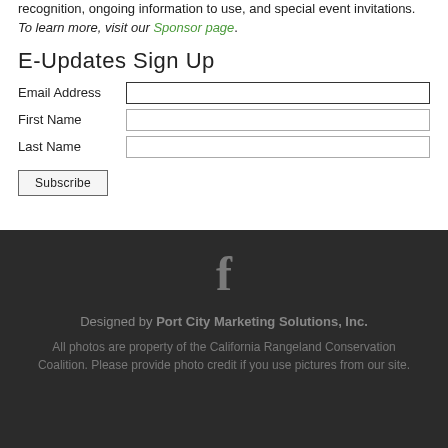recognition, ongoing information to use, and special event invitations. To learn more, visit our Sponsor page.
E-Updates Sign Up
Email Address [input field]
First Name [input field]
Last Name [input field]
Subscribe [button]
[Figure (logo): Facebook icon (letter f) in dark gray]
Designed by Port City Marketing Solutions, Inc. All photos are property of the California Rangeland Conservation Coalition. Please provide photo credit if you use pictures from our site.